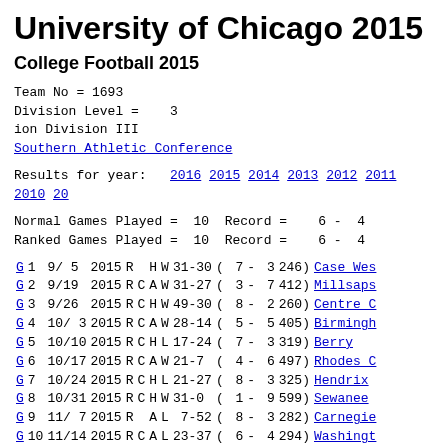University of Chicago 2015
College Football 2015
Team No = 1693
Division Level =    3
ion Division III
Southern Athletic Conference
Results for year:  2016 2015 2014 2013 2012 2011 2010 20...
Normal Games Played =  10  Record =   6 -  4
Ranked Games Played =  10  Record =   6 -  4
| G | 1 | 9/ 5 | 2015 | R |  | H | W | 31-30 | ( | 7 | - | 3 | 246) | Case Wes... |
| G | 2 | 9/19 | 2015 | R | C | A | W | 31-27 | ( | 3 | - | 7 | 412) | Millsaps... |
| G | 3 | 9/26 | 2015 | R | C | H | W | 49-30 | ( | 8 | - | 2 | 260) | Centre C... |
| G | 4 | 10/ 3 | 2015 | R | C | A | W | 28-14 | ( | 5 | - | 5 | 405) | Birmingh... |
| G | 5 | 10/10 | 2015 | R | C | H | L | 17-24 | ( | 7 | - | 3 | 319) | Berry |
| G | 6 | 10/17 | 2015 | R | C | A | W | 21-7 | ( | 4 | - | 6 | 497) | Rhodes C... |
| G | 7 | 10/24 | 2015 | R | C | H | L | 21-27 | ( | 8 | - | 3 | 325) | Hendrix |
| G | 8 | 10/31 | 2015 | R | C | H | W | 31-0 | ( | 1 | - | 9 | 599) | Sewanee |
| G | 9 | 11/ 7 | 2015 | R |  | A | L | 7-52 | ( | 8 | - | 3 | 282) | Carnegie... |
| G | 10 | 11/14 | 2015 | R | C | A | L | 23-37 | ( | 6 | - | 4 | 294) | Washingt... |
Rankings according to the various methods: